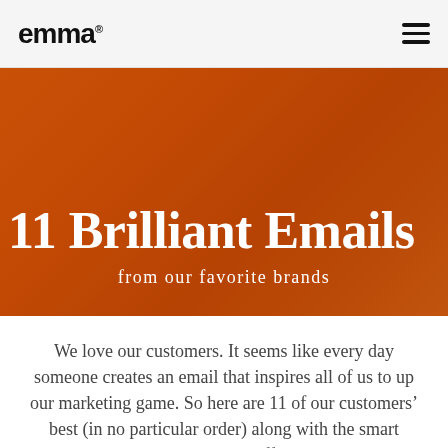emma
11 Brilliant Emails
from our favorite brands
We love our customers. It seems like every day someone creates an email that inspires all of us to up our marketing game. So here are 11 of our customers’ best (in no particular order) along with the smart strategies that make them so effective. Featuring: